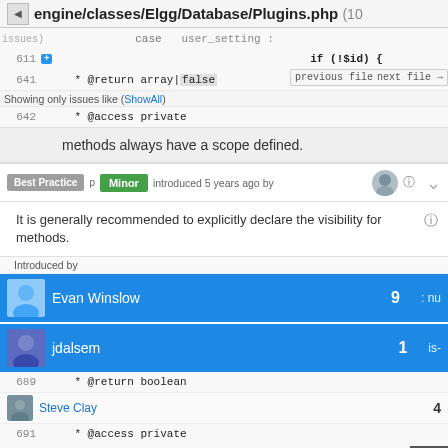engine/classes/Elgg/Database/Plugins.php (10 issues)
case  user_setting :
611   if (!$id) {
641   * @return array|false
Showing only issues like (ShowAll)
642   * @access private
methods always have a scope defined.
Best Practice  p  Minor   introduced 5 years ago by
It is generally recommended to explicitly declare the visibility for methods.
Introduced by
Evan Winslow  9
jdalsem  1
689   * @return boolean
Steve Clay  4
691   * @access private
691   */
   function invalidateProvicesCache(){
Jarnevil Khousdiman  3